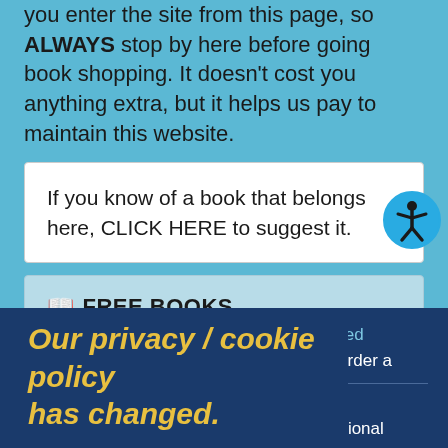you enter the site from this page, so ALWAYS stop by here before going book shopping. It doesn't cost you anything extra, but it helps us pay to maintain this website.
If you know of a book that belongs here, CLICK HERE to suggest it.
📖 FREE BOOKS
Brain Tumor Guide For The Newly Diagnosed - This is our guide. You can read online or order a hard copy.
Our privacy / cookie policy has changed.
Frankly Speaking About Brain Tumors An excellent brain tumor guide from the National